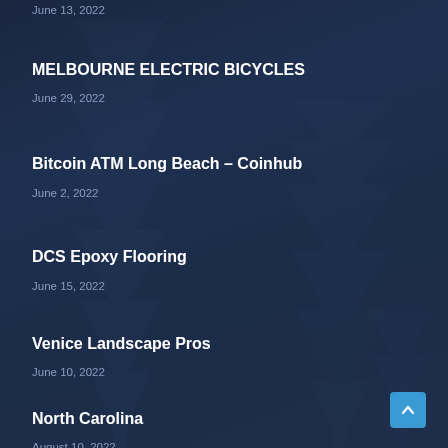June 13, 2022
MELBOURNE ELECTRIC BICYCLES
June 29, 2022
Bitcoin ATM Long Beach – Coinhub
June 2, 2022
DCS Epoxy Flooring
June 15, 2022
Venice Landscape Pros
June 10, 2022
North Carolina
August 10, 2022